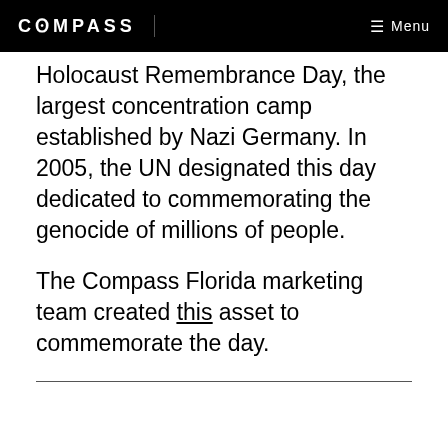COMPASS  Menu
Holocaust Remembrance Day, the largest concentration camp established by Nazi Germany. In 2005, the UN designated this day dedicated to commemorating the genocide of millions of people.
The Compass Florida marketing team created this asset to commemorate the day.